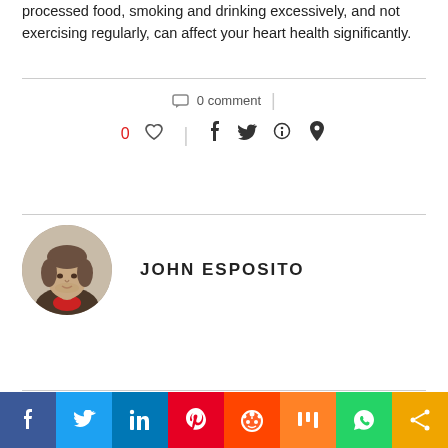processed food, smoking and drinking excessively, and not exercising regularly, can affect your heart health significantly.
0 comment
0 ♡  |  f  t   pinterest  email
JOHN ESPOSITO
[Figure (photo): Circular portrait photo of John Esposito, a middle-aged man with short hair]
previous post
Overtraining Syndrome and its Side Effects
next post
[Figure (infographic): Social media sharing bar with icons for Facebook, Twitter, LinkedIn, Pinterest, Reddit, Mix, WhatsApp, and Share]